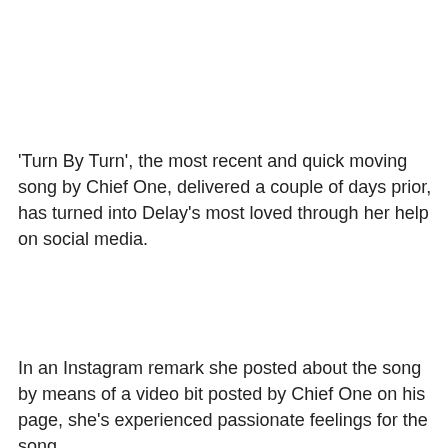'Turn By Turn', the most recent and quick moving song by Chief One, delivered a couple of days prior, has turned into Delay's most loved through her help on social media.
In an Instagram remark she posted about the song by means of a video bit posted by Chief One on his page, she's experienced passionate feelings for the song.